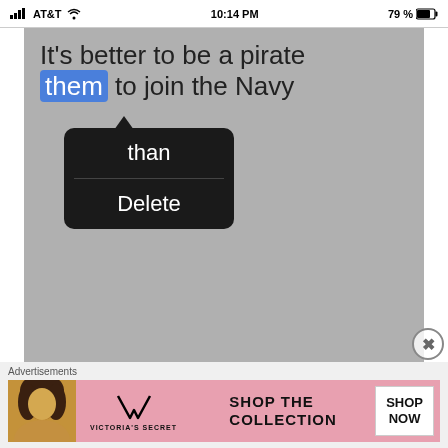[Figure (screenshot): iPhone screenshot showing iOS status bar with AT&T carrier, 10:14 PM time, 79% battery. Below is a text editing view with gray background showing the message 'It’s better to be a pirate them to join the Navy' where 'them' is highlighted in blue, and an autocorrect popup with options 'than' and 'Delete' is displayed.]
Advertisements
[Figure (photo): Victoria's Secret advertisement banner featuring a model, VS logo, 'SHOP THE COLLECTION' text, and a white 'SHOP NOW' button.]